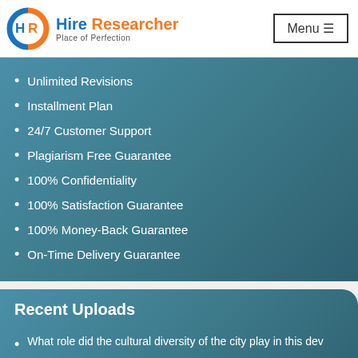[Figure (logo): Hire Researcher logo with circular HR icon in blue and orange, tagline 'Place of Perfection']
Unlimited Revisions
Installment Plan
24/7 Customer Support
Plagiarism Free Guarantee
100% Confidentiality
100% Satisfaction Guarantee
100% Money-Back Guarantee
On-Time Delivery Guarantee
Recent Uploads
What role did the cultural diversity of the city play in this dev
Describe one reason for adhering to high standards ethics. Wha